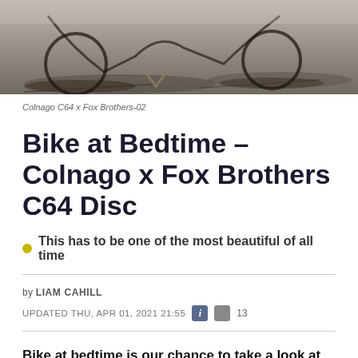[Figure (photo): Close-up photo of a bicycle (Colnago C64 x Fox Brothers) on pavement, showing wheels, chain stays, and shadows cast on the ground.]
Colnago C64 x Fox Brothers-02
Bike at Bedtime - Colnago x Fox Brothers C64 Disc
This has to be one of the most beautiful of all time
by LIAM CAHILL
UPDATED THU, APR 01, 2021 21:55   13
Bike at bedtime is our chance to take a look at some very interesting bikes but this could be one of the nicest that we've ever featured. So grab your warm milk, snuggle down and read this before drifting off to sleep.